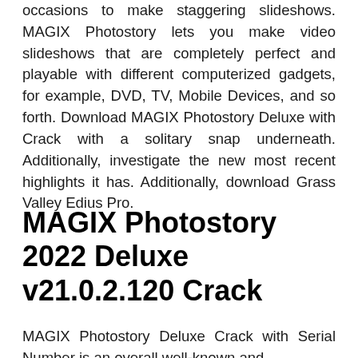occasions to make staggering slideshows. MAGIX Photostory lets you make video slideshows that are completely perfect and playable with different computerized gadgets, for example, DVD, TV, Mobile Devices, and so forth. Download MAGIX Photostory Deluxe with Crack with a solitary snap underneath. Additionally, investigate the new most recent highlights it has. Additionally, download Grass Valley Edius Pro.
MAGIX Photostory 2022 Deluxe v21.0.2.120 Crack
MAGIX Photostory Deluxe Crack with Serial Number is an overall well-known and